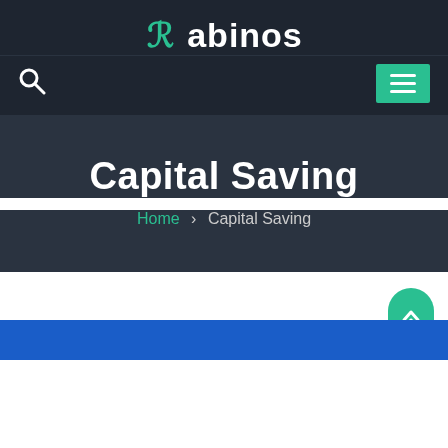Rabinos
Capital Saving
Home > Capital Saving
[Figure (screenshot): Blue banner section at the bottom of the page]